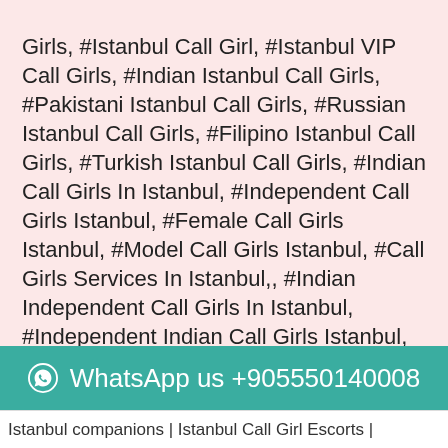Girls, #Istanbul Call Girl, #Istanbul VIP Call Girls, #Indian Istanbul Call Girls, #Pakistani Istanbul Call Girls, #Russian Istanbul Call Girls, #Filipino Istanbul Call Girls, #Turkish Istanbul Call Girls, #Indian Call Girls In Istanbul, #Independent Call Girls Istanbul, #Female Call Girls Istanbul, #Model Call Girls Istanbul, #Call Girls Services In Istanbul,, #Indian Independent Call Girls In Istanbul, #Independent Indian Call Girls Istanbul, #Indian Independent Female Call Girls Istanbul, #Istanbul Call Girls Call Girl, #Turkish Call Girls In Istanbul, #Housewife Call Girls In Istanbul, #Call Girl Call Girls In Istanbul, #best Call Girls In Istanbul, #Call Girls Indian Girl In Istanbul. Independent Female Escorts In Istanbul, #Filipino Call Girls In Istanbul, #Istanbul College Call Girls, #High Profile Call Girls In Istanbul, #Indian Air-Hostess Call Girls In Istanbul, #Hi Class Call Girls Girl In Istanbul.
WhatsApp us +905550140008
Istanbul companions | Istanbul Call Girl Escorts |